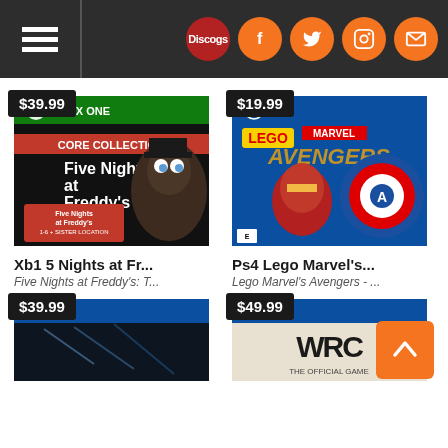Navigation header with hamburger menu and social icons: Discogs, Facebook, Twitter, Instagram, Email
[Figure (screenshot): Xbox One game cover: Five Nights at Freddy's Core Collection]
Xb1 5 Nights at Fr...
Five Nights at Freddy's: T...
[Figure (screenshot): PS4 game cover: LEGO Marvel's Avengers, price $19.99]
Ps4 Lego Marvel's...
Lego Marvel's Avengers - ...
[Figure (screenshot): PS4 game cover (partial), price $39.99]
[Figure (screenshot): PS4 game cover: WRC 9 The Official Game (partial), price $49.99]